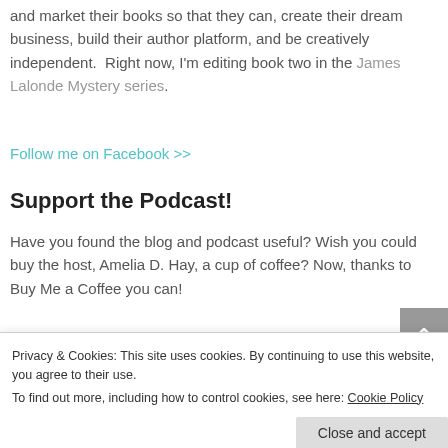and market their books so that they can, create their dream business, build their author platform, and be creatively independent. Right now, I'm editing book two in the James Lalonde Mystery series.
Follow me on Facebook >>
Support the Podcast!
Have you found the blog and podcast useful? Wish you could buy the host, Amelia D. Hay, a cup of coffee? Now, thanks to Buy Me a Coffee you can!
Privacy & Cookies: This site uses cookies. By continuing to use this website, you agree to their use. To find out more, including how to control cookies, see here: Cookie Policy
Close and accept
Loving the Authorpreneur